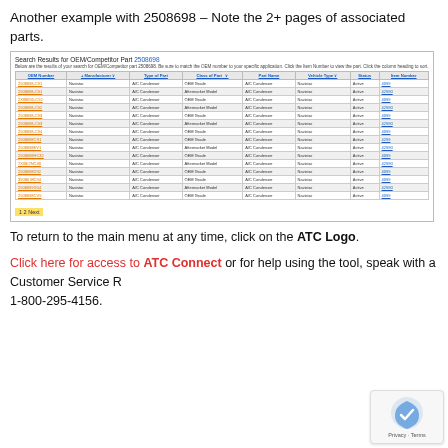Another example with 2508698 – Note the 2+ pages of associated parts.
[Figure (screenshot): Screenshot of search results for OEM/Competitor Part 2508698 showing a table with columns: OEM Number, Manufacturer, Type of Part, Class of Part, Part Name, Vehicle Type, Status, Item Number. Multiple rows of A/C Condenser parts from Navistar shown as both OEM Grade and Aftermarket Model, all Active status, with item numbers 4099 and 42990. Pagination shows '1 2 Next' at the bottom.]
To return to the main menu at any time, click on the ATC Logo.
Click here for access to ATC Connect  or for help using the tool, speak with a Customer Service R... 1-800-295-4156.